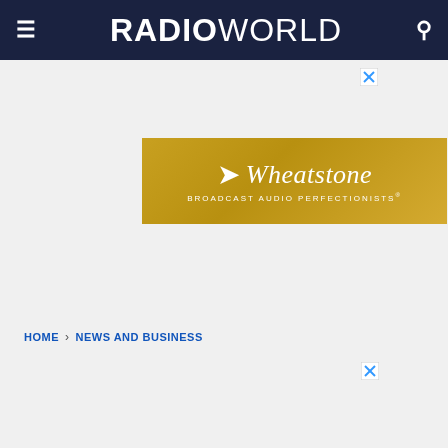Radio World
[Figure (illustration): Wheatstone Broadcast Audio Perfectionists advertisement banner with feather logo on gold background]
HOME > NEWS AND BUSINESS
[Figure (illustration): Best of Show at IBC 2022 advertisement – Nominations are now open. Start your entry today. Visit The Site.]